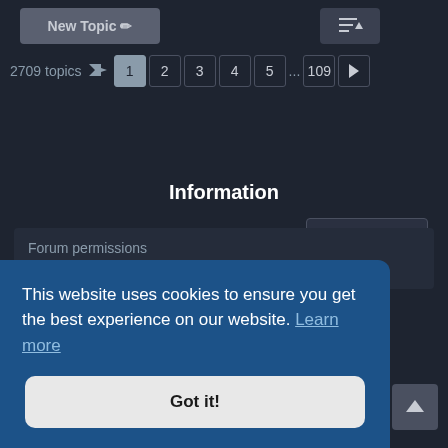[Figure (screenshot): New Topic button with pencil icon]
[Figure (screenshot): Sort/order button with dropdown icon]
2709 topics  1  2  3  4  5  ...  109  >
[Figure (screenshot): Jump to dropdown button]
Information
Forum permissions
You cannot post new topics in this forum
This website uses cookies to ensure you get the best experience on our website. Learn more
Got it!